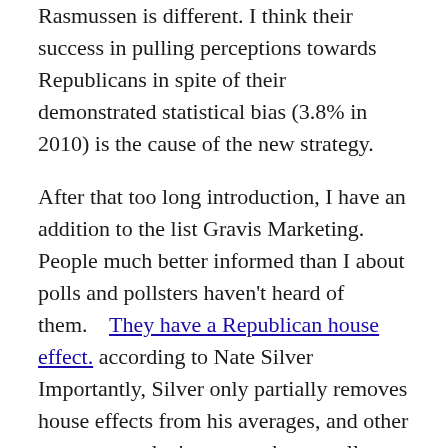Rasmussen is different.  I think their success in pulling perceptions towards Republicans in spite of their demonstrated statistical bias (3.8% in 2010) is the cause of the new strategy.
After that too long introduction, I have an addition to the list Gravis Marketing.  People much better informed than I about polls and pollsters haven't heard of them.    They have a Republican house effect. according to Nate Silver  Importantly, Silver only partially removes house effects from his averages, and other aggregators don't remove them at all.  Back to the first link to Silver discussing Foster McCollum White Baydoun
We do not subtract out the entire 11-point house